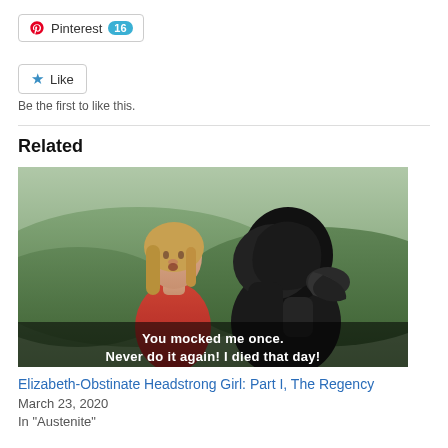[Figure (screenshot): Pinterest share button with count badge showing 16]
[Figure (screenshot): Like button with star icon]
Be the first to like this.
Related
[Figure (photo): Movie still showing a blonde woman in a red outfit facing a person in a black head covering, with subtitle text reading 'You mocked me once. Never do it again! I died that day!']
Elizabeth-Obstinate Headstrong Girl: Part I, The Regency
March 23, 2020
In "Austenite"